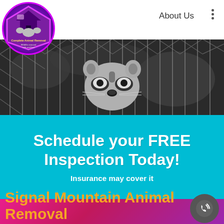[Figure (logo): Complete Animal Removal circular logo with house and animals icon, purple/pink border]
About Us
[Figure (photo): Black and white photo of a raccoon looking through a chain-link fence]
Schedule your FREE Inspection Today!
Insurance may cover it
Signal Mountain Animal Removal